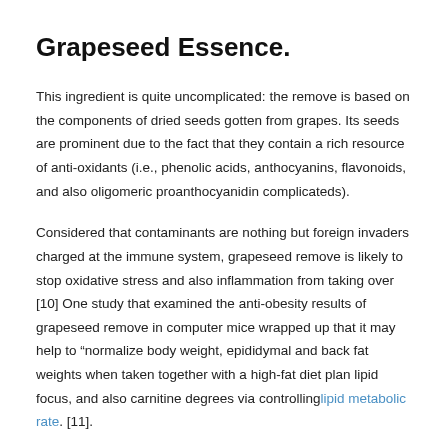Grapeseed Essence.
This ingredient is quite uncomplicated: the remove is based on the components of dried seeds gotten from grapes. Its seeds are prominent due to the fact that they contain a rich resource of anti-oxidants (i.e., phenolic acids, anthocyanins, flavonoids, and also oligomeric proanthocyanidin complicateds).
Considered that contaminants are nothing but foreign invaders charged at the immune system, grapeseed remove is likely to stop oxidative stress and also inflammation from taking over [10] One study that examined the anti-obesity results of grapeseed remove in computer mice wrapped up that it may help to “normalize body weight, epididymal and back fat weights when taken together with a high-fat diet plan lipid focus, and also carnitine degrees via controlling lipid metabolic rate. [11].